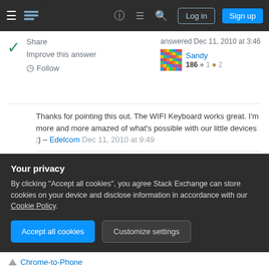Stack Exchange navigation bar with Log in and Sign up buttons
Share  answered Dec 11, 2010 at 3:46
Improve this answer  Sandy  186  1  2
Follow
Thanks for pointing this out. The WIFI Keyboard works great. I'm more and more amazed of what's possible with our little devices :) – Edelcom Dec 11, 2010 at 9:49
Great! Now I'm not scared of those password fields anymore! – phunehehe Apr 25, 2011 at 14:23
1  Some more information would be useful, to make it a
Your privacy
By clicking "Accept all cookies", you agree Stack Exchange can store cookies on your device and disclose information in accordance with our Cookie Policy.
Accept all cookies  Customize settings
Chrome-to-Phone